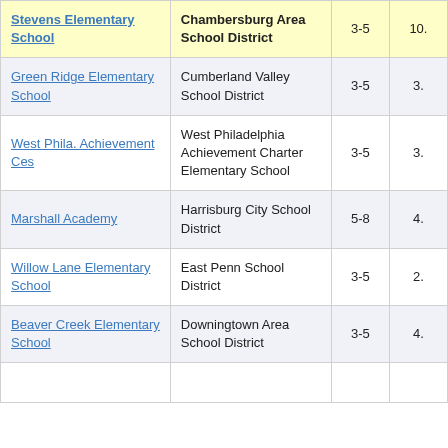| School | District | Grades | Score |
| --- | --- | --- | --- |
| Stevens Elementary School | Chambersburg Area School District | 3-5 | 10. |
| Green Ridge Elementary School | Cumberland Valley School District | 3-5 | 3. |
| West Phila. Achievement Ces | West Philadelphia Achievement Charter Elementary School | 3-5 | 3. |
| Marshall Academy | Harrisburg City School District | 5-8 | 4. |
| Willow Lane Elementary School | East Penn School District | 3-5 | 2. |
| Beaver Creek Elementary School | Downingtown Area School District | 3-5 | 4. |